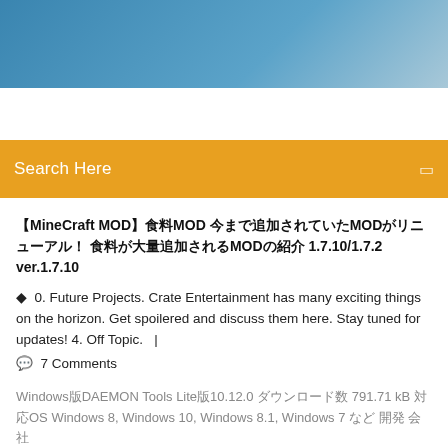[Figure (photo): Blue gradient header banner at top of webpage]
Search Here
【MineCraft MOD】食料MOD 今まで追加されていたMODがリニューアル！ 食料が大量追加されるMODの紹介 1.7.10/1.7.2 ver.1.7.10
0. Future Projects. Crate Entertainment has many exciting things on the horizon. Get spoilered and discuss them here. Stay tuned for updates! 4. Off Topic.   |
7 Comments
Windows版DAEMON Tools Lite版10.12.0 ダウンロード数 791.71 kB 対応OS Windows 8, Windows 10, Windows 8.1, Windows 7 など 開発 会社